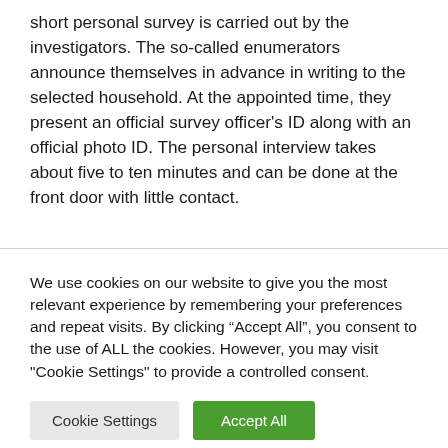short personal survey is carried out by the investigators. The so-called enumerators announce themselves in advance in writing to the selected household. At the appointed time, they present an official survey officer's ID along with an official photo ID. The personal interview takes about five to ten minutes and can be done at the front door with little contact.
We use cookies on our website to give you the most relevant experience by remembering your preferences and repeat visits. By clicking “Accept All”, you consent to the use of ALL the cookies. However, you may visit "Cookie Settings" to provide a controlled consent.